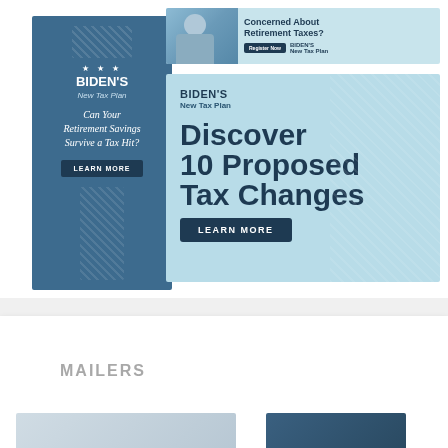[Figure (infographic): Tall dark blue banner ad: Biden's New Tax Plan - Can Your Retirement Savings Survive a Tax Hit? LEARN MORE button. Stars and hatched decorative blocks.]
[Figure (infographic): Horizontal banner ad with elderly woman photo: Concerned About Retirement Taxes? Register Now - Biden's New Tax Plan]
[Figure (infographic): Large square light blue ad: Biden's New Tax Plan - Discover 10 Proposed Tax Changes. LEARN MORE button. Diagonal hatched decorative pattern on right side.]
MAILERS
[Figure (screenshot): Partial view of two mailer thumbnails at bottom of page - one light gray/blue on left, one dark navy on right]